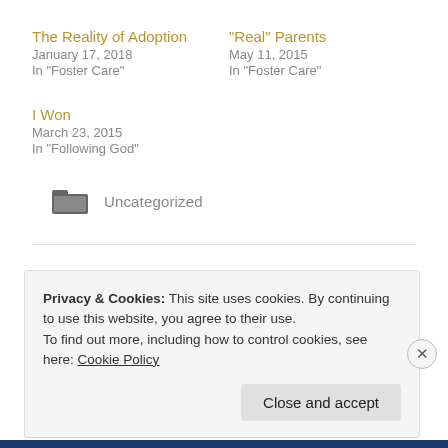The Reality of Adoption
January 17, 2018
In "Foster Care"
“Real” Parents
May 11, 2015
In "Foster Care"
I Won
March 23, 2015
In "Following God"
Uncategorized
Privacy & Cookies: This site uses cookies. By continuing to use this website, you agree to their use.
To find out more, including how to control cookies, see here: Cookie Policy